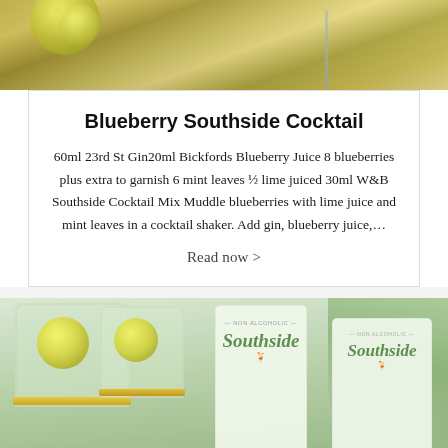[Figure (photo): Top portion of a cocktail photo showing drinks with lime and a metal straw on a gold-accented surface]
Blueberry Southside Cocktail
60ml 23rd St Gin20ml Bickfords Blueberry Juice 8 blueberries plus extra to garnish 6 mint leaves ½ lime juiced 30ml W&B Southside Cocktail Mix Muddle blueberries with lime juice and mint leaves in a cocktail shaker. Add gin, blueberry juice,…
Read now >
[Figure (photo): Bottom photo showing bottles of Southside Non-Alcoholic cocktail mix with gold-rimmed glasses containing lime slices, on an outdoor table setting]